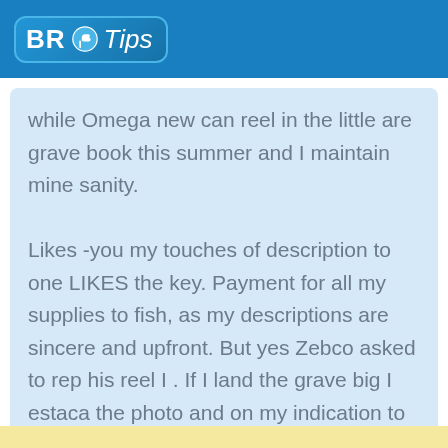BR Tips
while Omega new can reel in the little are grave book this summer and I maintain mine sanity.

Likes -you my touches of description to one LIKES the key. Payment for all my supplies to fish, as my descriptions are sincere and upfront. But yes Zebco asked to rep his reel I . If I land the grave big I estaca the photo and on my indication to five stars.
★★★★☆  4 / 5   Wynona